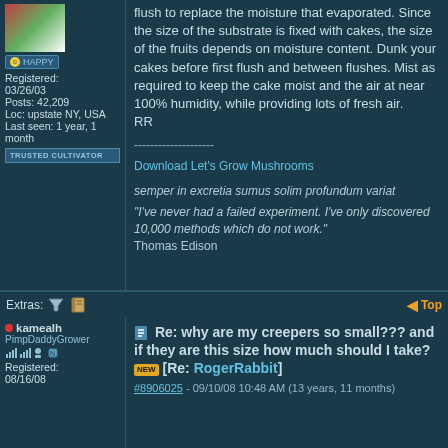flush to replace the moisture that evaporated. Since the size of the substrate is fixed with cakes, the size of the fruits depends on moisture content. Dunk your cakes before first flush and between flushes. Mist as required to keep the cake moist and the air at near 100% humidity, while providing lots of fresh air. RR
--------------------
Download Let's Grow Mushrooms
semper in excretia sumus solim profundum variat
"I've never had a failed experiment. I've only discovered 10,000 methods which do not work." Thomas Edison
Extras: [filter icon] [book icon] Top
Registered: 03/26/03
Posts: 42,209
Loc: upstate NY, USA
Last seen: 1 year, 1 month
kamealh
PimpDaddyGrower
Registered: 08/16/08
Re: why are my creepers so small??? and if they are this size how much should I take? [NEW] [Re: RogerRabbit]
#8906025 - 09/10/08 10:48 AM (13 years, 11 months)